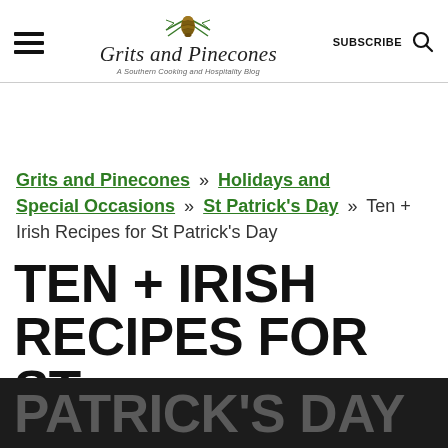Grits and Pinecones — A Southern Cooking and Hospitality Blog | SUBSCRIBE | Search
Grits and Pinecones » Holidays and Special Occasions » St Patrick's Day » Ten + Irish Recipes for St Patrick's Day
TEN + IRISH RECIPES FOR ST PATRICK'S DAY